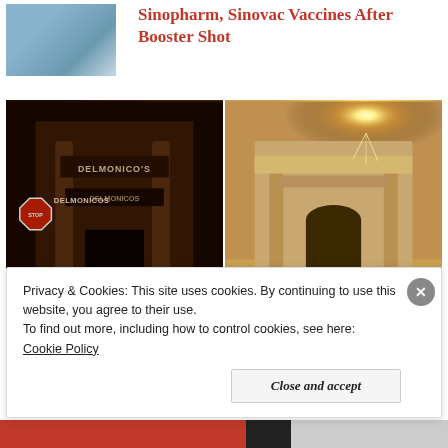[Figure (photo): Thumbnail photo of a building or landscape (partially visible, upper left corner)]
Sinopharm, Sinovac Vaccines After Booster Shot
[Figure (photo): Night photo of Delmonico's restaurant exterior with sign and stop sign visible]
[Figure (photo): Daytime photo of an ancient stone-carved building facade in a desert setting (Petra-like), with sunburst and a person standing in front]
Privacy & Cookies: This site uses cookies. By continuing to use this website, you agree to their use.
To find out more, including how to control cookies, see here: Cookie Policy
Close and accept